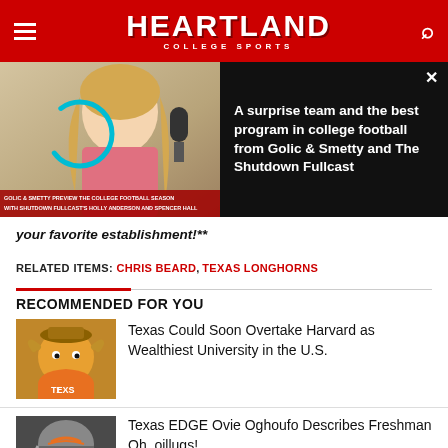HEARTLAND COLLEGE SPORTS
[Figure (screenshot): Video player with woman talking, overlaid with headline: A surprise team and the best program in college football from Golic & Smetty and The Shutdown Fullcast]
your favorite establishment!**
RELATED ITEMS: CHRIS BEARD, TEXAS LONGHORNS
RECOMMENDED FOR YOU
[Figure (photo): Texas Longhorns mascot Bevo at a game]
Texas Could Soon Overtake Harvard as Wealthiest University in the U.S.
[Figure (photo): Texas Longhorns football helmet close-up]
Texas EDGE Ovie Oghoufo Describes Freshman Oh, oillugs!